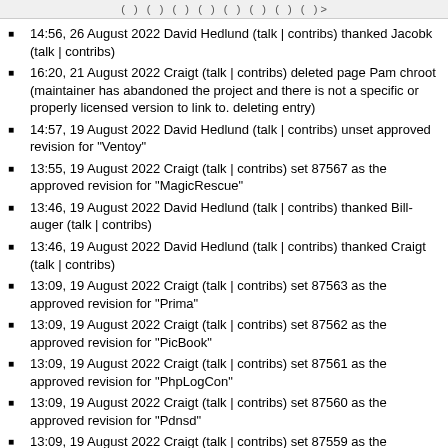( ) ( ) ( ) ( ) ( ) ( ) ( ) ( )
14:56, 26 August 2022 David Hedlund (talk | contribs) thanked Jacobk (talk | contribs)
16:20, 21 August 2022 Craigt (talk | contribs) deleted page Pam chroot (maintainer has abandoned the project and there is not a specific or properly licensed version to link to. deleting entry)
14:57, 19 August 2022 David Hedlund (talk | contribs) unset approved revision for "Ventoy"
13:55, 19 August 2022 Craigt (talk | contribs) set 87567 as the approved revision for "MagicRescue"
13:46, 19 August 2022 David Hedlund (talk | contribs) thanked Bill-auger (talk | contribs)
13:46, 19 August 2022 David Hedlund (talk | contribs) thanked Craigt (talk | contribs)
13:09, 19 August 2022 Craigt (talk | contribs) set 87563 as the approved revision for "Prima"
13:09, 19 August 2022 Craigt (talk | contribs) set 87562 as the approved revision for "PicBook"
13:09, 19 August 2022 Craigt (talk | contribs) set 87561 as the approved revision for "PhpLogCon"
13:09, 19 August 2022 Craigt (talk | contribs) set 87560 as the approved revision for "Pdnsd"
13:09, 19 August 2022 Craigt (talk | contribs) set 87559 as the approved revision for "Payrollbash"